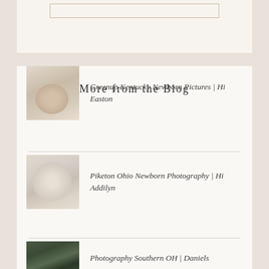More from the Blog
[Figure (photo): Thumbnail photo of sleeping newborn baby, warm beige tones]
Greenup Kentucky Newborn Pictures | Hi Easton
[Figure (photo): Thumbnail photo of newborn baby wrapped in cream fabric with headband]
Piketon Ohio Newborn Photography | Hi Addilyn
[Figure (photo): Thumbnail photo of family outdoors, dark background]
Photography Southern OH | Daniels